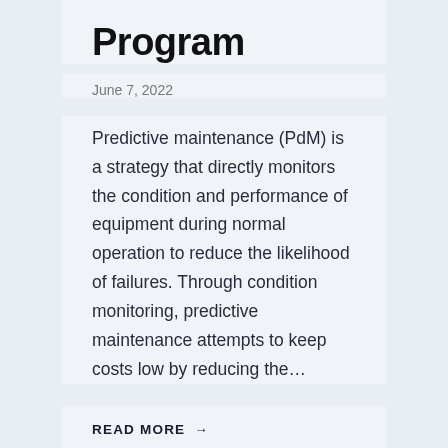Program
June 7, 2022
Predictive maintenance (PdM) is a strategy that directly monitors the condition and performance of equipment during normal operation to reduce the likelihood of failures. Through condition monitoring, predictive maintenance attempts to keep costs low by reducing the…
READ MORE →
‹  1  2  3  4  …  14